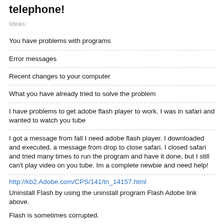telephone!
Ideas:
You have problems with programs
Error messages
Recent changes to your computer
What you have already tried to solve the problem
I have problems to get adobe flash player to work. I was in safari and wanted to watch you tube
I got a message from fall I need adobe flash player. I downloaded and executed. a message from drop to close safari. I closed safari and tried many times to run the program and have it done, but I still can't play video on you tube. Im a complete newbie and need help!
http://kb2.Adobe.com/CPS/141/tn_14157.html
Uninstall Flash by using the uninstall program Flash Adobe link above.
Flash is sometimes corrupted.
http://get.Adobe.com/flashplayer/?promoid=BUIGP
Reinstall Flash, after 1st unchecking / uncheck the toolbar Google download option there.